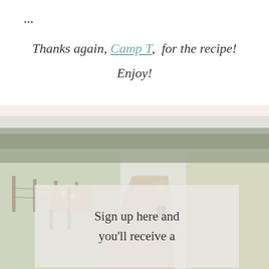...
Thanks again, Camp T,  for the recipe!
Enjoy!
[Figure (photo): A person walking down a rural dirt road with green fields on either side, a Texas-shaped mailbox sign visible on the left. Soft, hazy, overexposed lighting gives a warm pastoral feel.]
Sign up here and you'll receive a